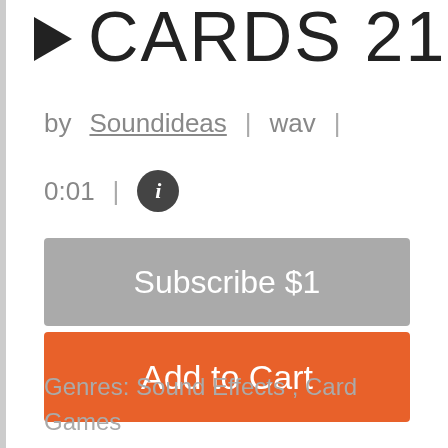CARDS 21
by Soundideas | wav |
0:01 | i
Subscribe $1
Add to Cart
Genres: Sound Effects , Card Games